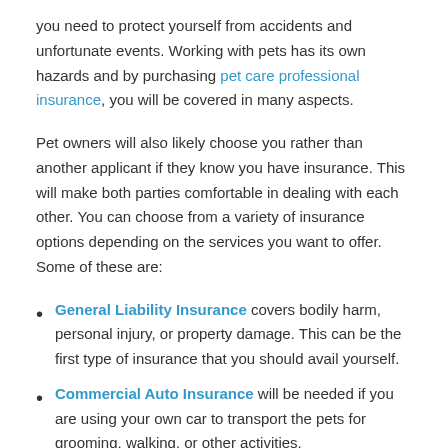you need to protect yourself from accidents and unfortunate events. Working with pets has its own hazards and by purchasing pet care professional insurance, you will be covered in many aspects.
Pet owners will also likely choose you rather than another applicant if they know you have insurance. This will make both parties comfortable in dealing with each other. You can choose from a variety of insurance options depending on the services you want to offer. Some of these are:
General Liability Insurance covers bodily harm, personal injury, or property damage. This can be the first type of insurance that you should avail yourself.
Commercial Auto Insurance will be needed if you are using your own car to transport the pets for grooming, walking, or other activities.
Pet Grooming Liability Coverage is for pet